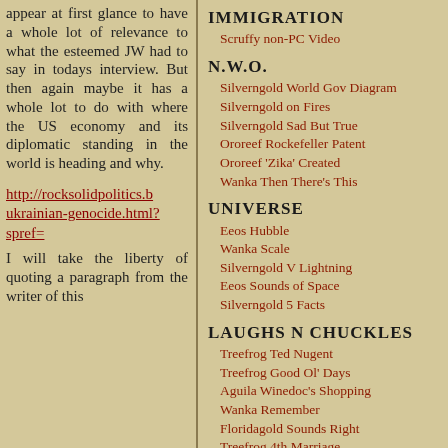appear at first glance to have a whole lot of relevance to what the esteemed JW had to say in todays interview. But then again maybe it has a whole lot to do with where the US economy and its diplomatic standing in the world is heading and why.
http://rocksolidpolitics.b ukrainian-genocide.html?spref=
I will take the liberty of quoting a paragraph from the writer of this
IMMIGRATION
Scruffy non-PC Video
N.W.O.
Silverngold World Gov Diagram
Silverngold on Fires
Silverngold Sad But True
Ororeef Rockefeller Patent
Ororeef 'Zika' Created
Wanka Then There's This
UNIVERSE
Eeos Hubble
Wanka Scale
Silverngold V Lightning
Eeos Sounds of Space
Silverngold 5 Facts
LAUGHS N CHUCKLES
Treefrog Ted Nugent
Treefrog Good Ol' Days
Aguila Winedoc's Shopping
Wanka Remember
Floridagold Sounds Right
Treefrog 4th Marriage
Auandag Football
Scruffy True Story?
Goldielocks Parking Tickets
Scruffy Buy Apple
Scruffy Fact-Resistant
Scruffy Geezer Life